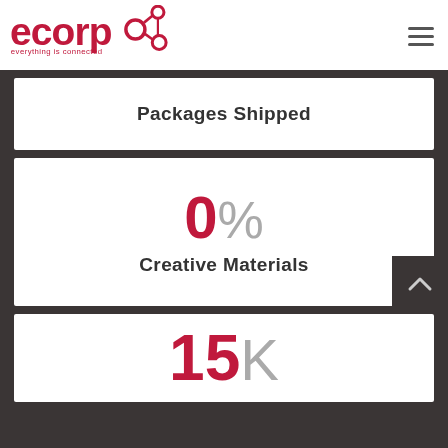[Figure (logo): ecorp logo with red text and connected circles icon, tagline 'everything is connected']
Packages Shipped
0% Creative Materials
15K